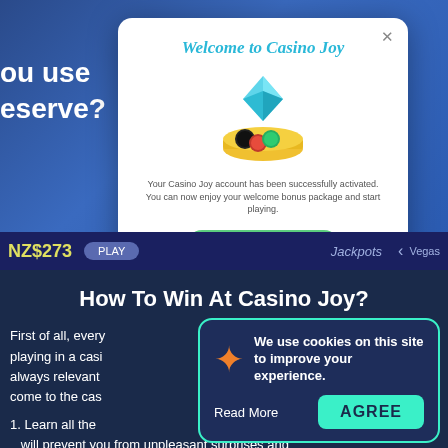[Figure (screenshot): Casino Joy website screenshot showing a welcome popup/modal with a diamond and casino chips illustration, account activation message, and Deposit Now button. Background shows casino lobby with NZ$273 amount, Play button, Jackpots navigation.]
How To Win At Casino Joy?
First of all, every playing in a casi always relevant come to the cas
1. Learn all the will prevent you from unpleasant surprises and
[Figure (infographic): Cookie consent banner with orange star icon, text 'We use cookies on this site to improve your experience.', Read More link, and AGREE button in teal/cyan.]